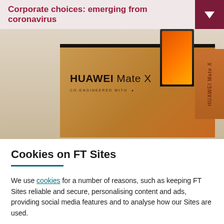Corporate choices: emerging from coronavirus
[Figure (photo): Photo of a Huawei Mate X foldable phone display box on a retail stand, with an orange foldable phone visible on top.]
Cookies on FT Sites
We use cookies for a number of reasons, such as keeping FT Sites reliable and secure, personalising content and ads, providing social media features and to analyse how our Sites are used.
Manage cookies
Accept & continue